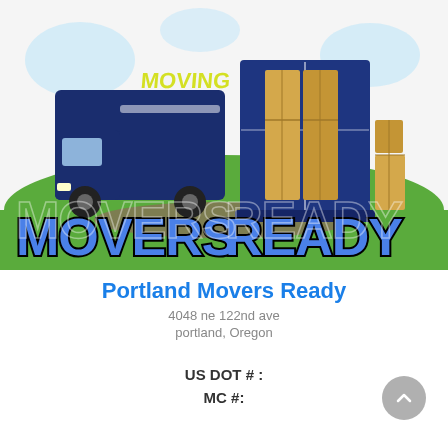[Figure (logo): Movers Ready company logo: a moving truck and storage container with cardboard boxes, with the text 'MOVERS READY' in large bubble letters at the bottom]
Portland Movers Ready
4048 ne 122nd ave
portland, Oregon
US DOT # :
MC #: